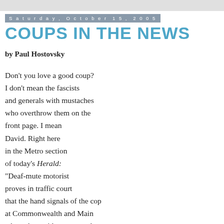Saturday, October 15, 2005
COUPS IN THE NEWS
by Paul Hostovsky
Don't you love a good coup?
I don't mean the fascists
and generals with mustaches
who overthrow them on the
front page. I mean
David. Right here
in the Metro section
of today's Herald:
"Deaf-mute motorist
proves in traffic court
that the hand signals of the cop
at Commonwealth and Main
where the accident occurred
were ambiguous
from a linguistic point of view."